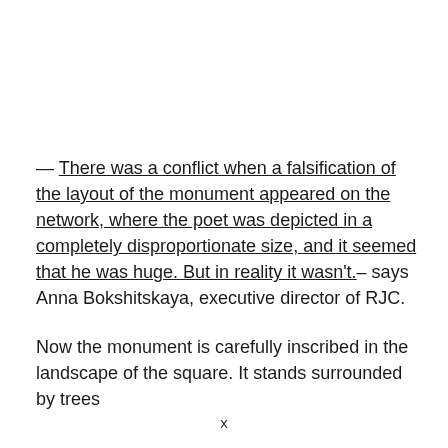— There was a conflict when a falsification of the layout of the monument appeared on the network, where the poet was depicted in a completely disproportionate size, and it seemed that he was huge. But in reality it wasn't.– says Anna Bokshitskaya, executive director of RJC.
Now the monument is carefully inscribed in the landscape of the square. It stands surrounded by trees